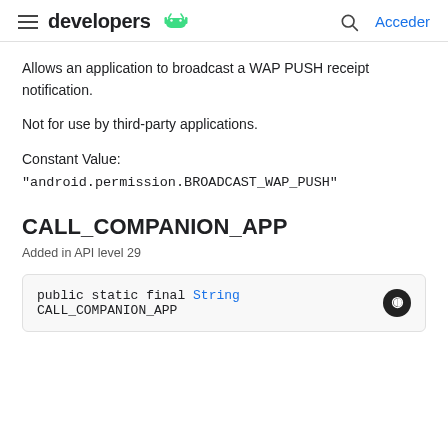developers | Acceder
Allows an application to broadcast a WAP PUSH receipt notification.
Not for use by third-party applications.
Constant Value:
"android.permission.BROADCAST_WAP_PUSH"
CALL_COMPANION_APP
Added in API level 29
public static final String CALL_COMPANION_APP